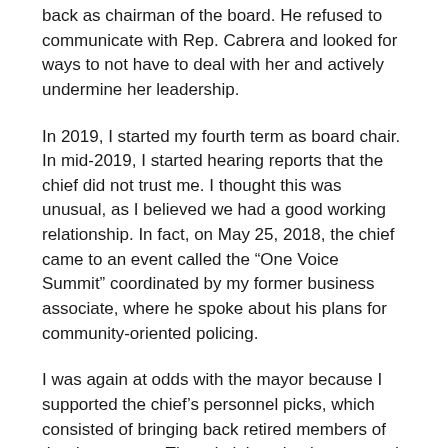back as chairman of the board. He refused to communicate with Rep. Cabrera and looked for ways to not have to deal with her and actively undermine her leadership.
In 2019, I started my fourth term as board chair. In mid-2019, I started hearing reports that the chief did not trust me. I thought this was unusual, as I believed we had a good working relationship. In fact, on May 25, 2018, the chief came to an event called the “One Voice Summit” coordinated by my former business associate, where he spoke about his plans for community-oriented policing.
I was again at odds with the mayor because I supported the chief’s personnel picks, which consisted of bringing back retired members of the department. The administration is on record